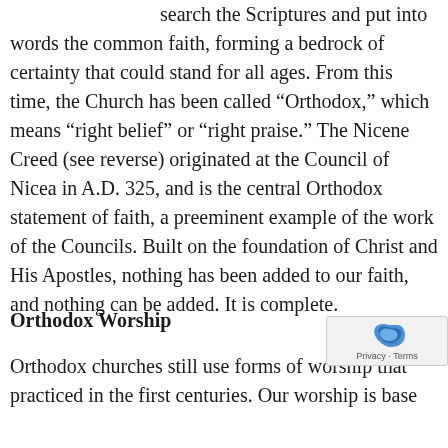search the Scriptures and put into words the common faith, forming a bedrock of certainty that could stand for all ages. From this time, the Church has been called “Orthodox,” which means “right belief” or “right praise.” The Nicene Creed (see reverse) originated at the Council of Nicea in A.D. 325, and is the central Orthodox statement of faith, a preeminent example of the work of the Councils. Built on the foundation of Christ and His Apostles, nothing has been added to our faith, and nothing can be added. It is complete.
Orthodox Worship
Orthodox churches still use forms of worship that practiced in the first centuries. Our worship is base